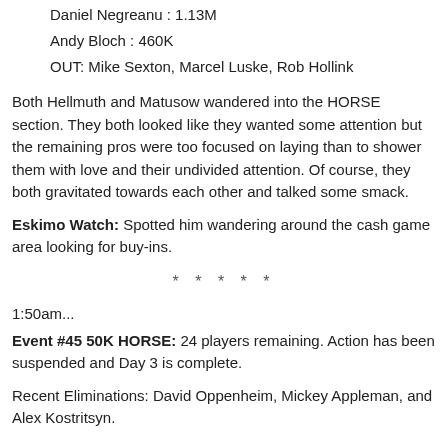Daniel Negreanu : 1.13M
Andy Bloch : 460K
OUT: Mike Sexton, Marcel Luske, Rob Hollink
Both Hellmuth and Matusow wandered into the HORSE section. They both looked like they wanted some attention but the remaining pros were too focused on laying than to shower them with love and their undivided attention. Of course, they both gravitated towards each other and talked some smack.
Eskimo Watch: Spotted him wandering around the cash game area looking for buy-ins.
* * * * *
1:50am...
Event #45 50K HORSE: 24 players remaining. Action has been suspended and Day 3 is complete.
Recent Eliminations: David Oppenheim, Mickey Appleman, and Alex Kostritsyn.